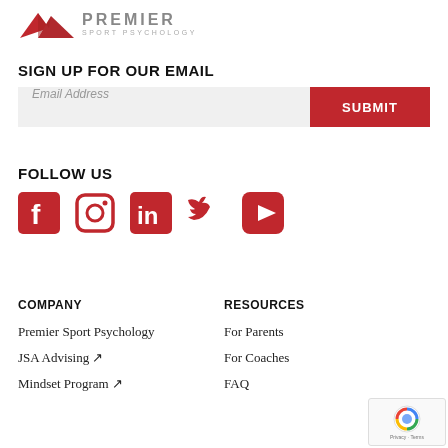[Figure (logo): Premier Sport Psychology logo with red mountain icon and grey text]
SIGN UP FOR OUR EMAIL
Email Address [input field] SUBMIT
FOLLOW US
[Figure (infographic): Social media icons: Facebook, Instagram, LinkedIn, Twitter, YouTube - all in red]
COMPANY
Premier Sport Psychology
JSA Advising ↗
Mindset Program ↗
RESOURCES
For Parents
For Coaches
FAQ